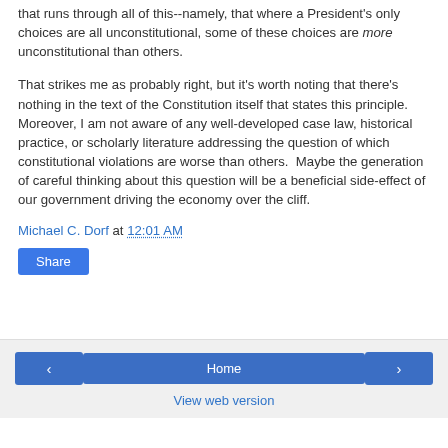that runs through all of this--namely, that where a President's only choices are all unconstitutional, some of these choices are more unconstitutional than others.
That strikes me as probably right, but it's worth noting that there's nothing in the text of the Constitution itself that states this principle.  Moreover, I am not aware of any well-developed case law, historical practice, or scholarly literature addressing the question of which constitutional violations are worse than others.  Maybe the generation of careful thinking about this question will be a beneficial side-effect of our government driving the economy over the cliff.
Michael C. Dorf at 12:01 AM
Share
< Home > View web version